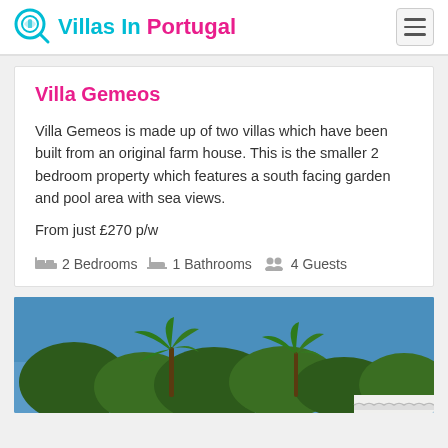Villas In Portugal
Villa Gemeos
Villa Gemeos is made up of two villas which have been built from an original farm house. This is the smaller 2 bedroom property which features a south facing garden and pool area with sea views.
From just £270 p/w
2 Bedrooms  1 Bathrooms  4 Guests
[Figure (photo): Exterior photo of the villa showing palm trees and tropical vegetation against a clear blue sky, with white building roof visible at bottom right.]